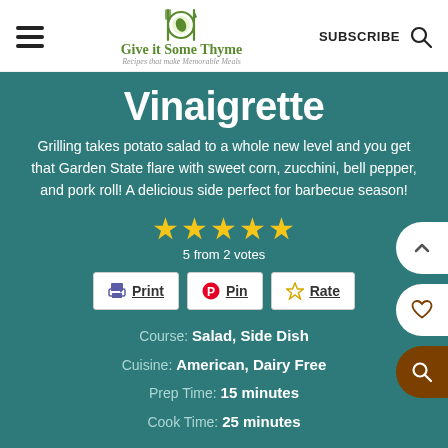Give it Some Thyme — Recipes that make Memorable Meals
Vinaigrette
Grilling takes potato salad to a whole new level and you get that Garden State flare with sweet corn, zucchini, bell pepper, and pork roll! A delicious side perfect for barbecue season!
5 from 2 votes
Course: Salad, Side Dish
Cuisine: American, Dairy Free
Prep Time: 15 minutes
Cook Time: 25 minutes